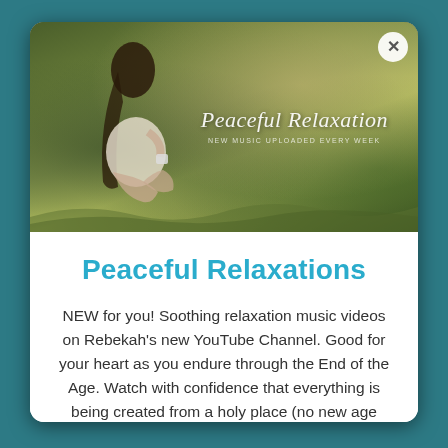[Figure (photo): A woman with long dark hair sitting outdoors in a lush green nature setting, holding a cup. Text overlay reads 'Peaceful Relaxation' in cursive script with subtitle 'NEW MUSIC UPLOADED EVERY WEEK'. A white circular close (X) button appears in the top right corner of the photo.]
Peaceful Relaxations
NEW for you! Soothing relaxation music videos on Rebekah's new YouTube Channel. Good for your heart as you endure through the End of the Age. Watch with confidence that everything is being created from a holy place (no new age